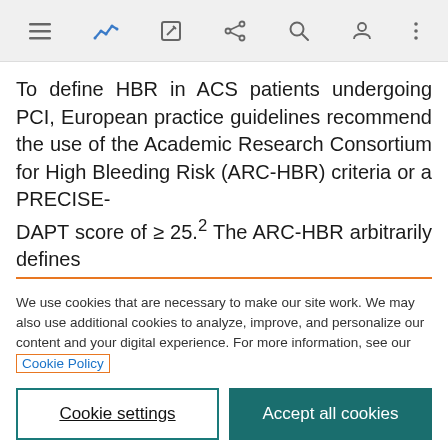Navigation bar with icons: menu, chart/analytics, edit, share, search, account, more
To define HBR in ACS patients undergoing PCI, European practice guidelines recommend the use of the Academic Research Consortium for High Bleeding Risk (ARC-HBR) criteria or a PRECISE-DAPT score of ≥ 25.² The ARC-HBR arbitrarily defines
We use cookies that are necessary to make our site work. We may also use additional cookies to analyze, improve, and personalize our content and your digital experience. For more information, see our Cookie Policy
Cookie settings
Accept all cookies